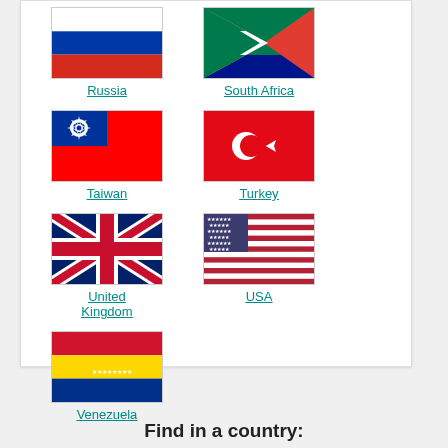[Figure (illustration): Grid of country flags with labels: Russia, South Africa, Taiwan, Turkey, United Kingdom, USA, Venezuela]
Find in a country: